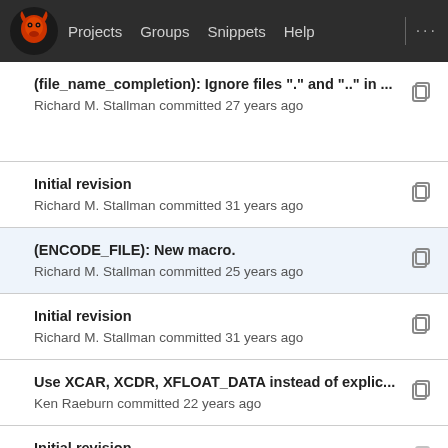Projects  Groups  Snippets  Help
(file_name_completion): Ignore files "." and ".." in ...
Richard M. Stallman committed 27 years ago
Initial revision
Richard M. Stallman committed 31 years ago
(ENCODE_FILE): New macro.
Richard M. Stallman committed 25 years ago
Initial revision
Richard M. Stallman committed 31 years ago
Use XCAR, XCDR, XFLOAT_DATA instead of explic...
Ken Raeburn committed 22 years ago
Initial revision